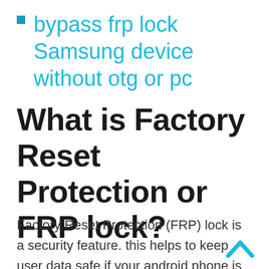bypass frp lock Samsung device without otg or pc
What is Factory Reset Protection or FRP lock?
Factory Reset Protection (FRP) lock is a security feature. this helps to keep user data safe if your android phone is lost or stolen. In theory, if someone steals your android device, then they can easily access devices just hard reset but if your android os version is lollipop or higher then the phone will require to verify your android phone